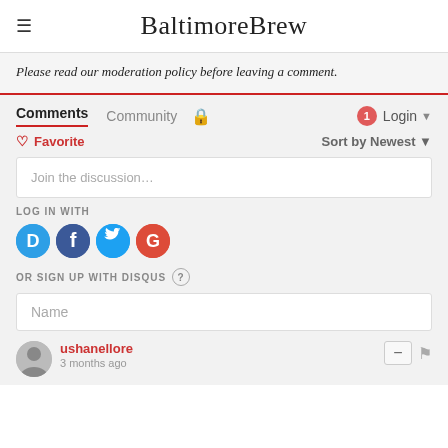BaltimoreBrew
Please read our moderation policy before leaving a comment.
Comments  Community  Login
Favorite  Sort by Newest
Join the discussion…
LOG IN WITH
[Figure (other): Social login icons: Disqus (D), Facebook (f), Twitter bird, Google (G)]
OR SIGN UP WITH DISQUS ?
Name
ushanellore
3 months ago